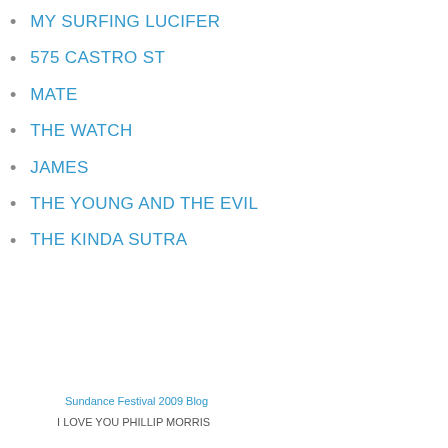MY SURFING LUCIFER
575 CASTRO ST
MATE
THE WATCH
JAMES
THE YOUNG AND THE EVIL
THE KINDA SUTRA
Sundance Festival 2009 Blog
I LOVE YOU PHILLIP MORRIS